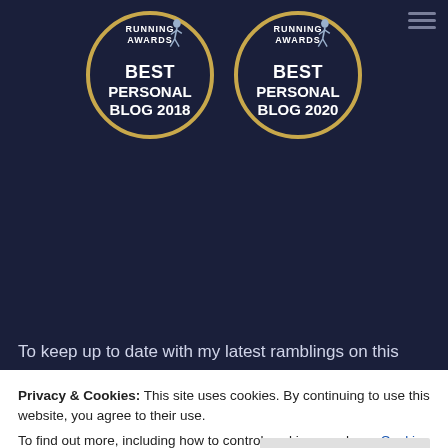[Figure (logo): Two circular Running Awards badges: 'Best Personal Blog 2018' and 'Best Personal Blog 2020', dark navy background with gold ring border and runner silhouette]
To keep up to date with my latest ramblings on this blog please subscribe below
[Figure (screenshot): Email address input field with placeholder text 'Email Address' and a 'Sign Up' button to the right]
Privacy & Cookies: This site uses cookies. By continuing to use this website, you agree to their use.
To find out more, including how to control cookies, see here: Cookie Policy
Close and accept